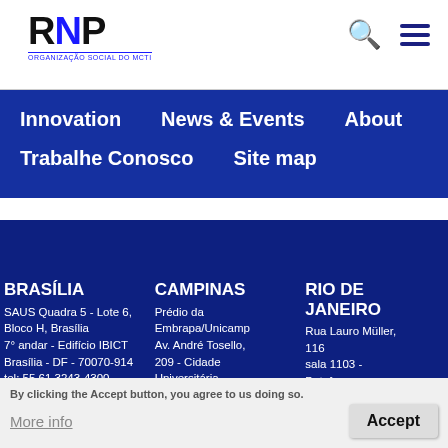RNP logo — ORGANIZAÇÃO SOCIAL DO MCTI
Innovation
News & Events
About
Trabalhe Conosco
Site map
BRASÍLIA
SAUS Quadra 5 - Lote 6, Bloco H, Brasília
7° andar - Edifício IBICT
Brasília - DF - 70070-914
tel: 55 61 3243-4300
fax: 55 61 3226-5303
CAMPINAS
Prédio da Embrapa/Unicamp
Av. André Tosello, 209 - Cidade Universitária Zeferino Vaz
RIO DE JANEIRO
Rua Lauro Müller, 116
sala 1103 - Botafogo
Rio de Janeiro - RJ
By clicking the Accept button, you agree to us doing so.
More info
Accept